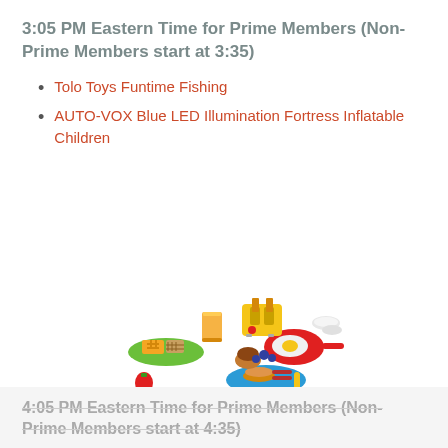3:05 PM Eastern Time for Prime Members (Non-Prime Members start at 3:35)
Tolo Toys Funtime Fishing
AUTO-VOX Blue LED Illumination Fortress Inflatable Children
[Figure (photo): Colorful children's toy breakfast play set including a toaster, frying pan with egg, plates with waffles and pancakes, juice glass, and food pieces]
4:05 PM Eastern Time for Prime Members (Non-Prime Members start at 4:35)